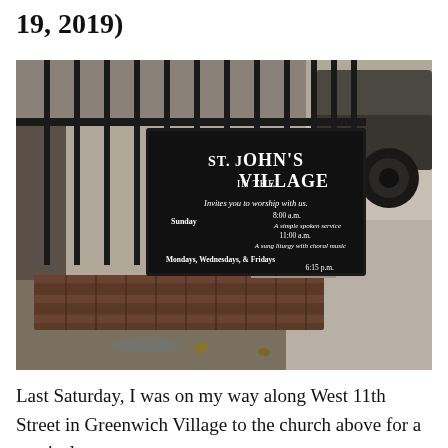19, 2019)
[Figure (photo): Outdoor photograph of a black sign for St. John's in the Village church, mounted on iron fence railing with brick base. Sign reads: 'ST. JOHN'S IN THE VILLAGE / Invites you to worship with us. / Sunday 8:00 a.m. A simple spoken service / 11:00 a.m. A sung liturgy with choral music / Mondays, Wednesdays, & Fridays 6:15 p.m.' A car is visible in the background on the right, and fallen leaves on the sidewalk.]
Last Saturday, I was on my way along West 11th Street in Greenwich Village to the church above for a musical event